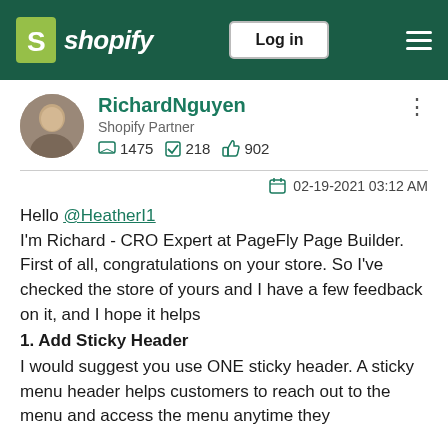Shopify — Log in
RichardNguyen
Shopify Partner
1475  218  902
02-19-2021 03:12 AM
Hello @HeatherI1
I'm Richard - CRO Expert at PageFly Page Builder. First of all, congratulations on your store. So I've checked the store of yours and I have a few feedback on it, and I hope it helps
1. Add Sticky Header
I would suggest you use ONE sticky header. A sticky menu header helps customers to reach out to the menu and access the menu anytime they